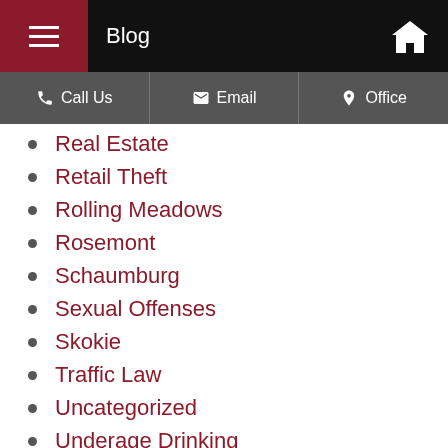Blog
Call Us | Email | Office
Real Estate
Retail Theft
Rolling Meadows
Rosemont
Schaumburg
Sexual Offenses
Skokie
Traffic Law
Uncategorized
Underage Drinking
Vernon Hills
Wheeling